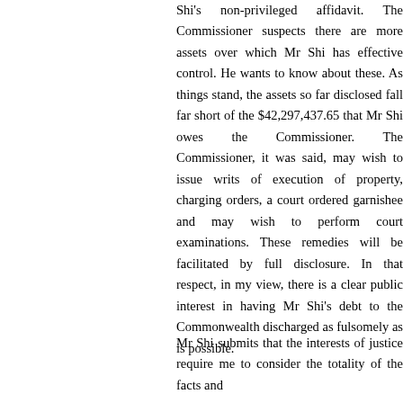Shi's non-privileged affidavit. The Commissioner suspects there are more assets over which Mr Shi has effective control. He wants to know about these. As things stand, the assets so far disclosed fall far short of the $42,297,437.65 that Mr Shi owes the Commissioner. The Commissioner, it was said, may wish to issue writs of execution of property, charging orders, a court ordered garnishee and may wish to perform court examinations. These remedies will be facilitated by full disclosure. In that respect, in my view, there is a clear public interest in having Mr Shi's debt to the Commonwealth discharged as fulsomely as is possible.
Mr Shi submits that the interests of justice require me to consider the totality of the facts and